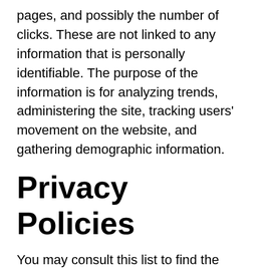pages, and possibly the number of clicks. These are not linked to any information that is personally identifiable. The purpose of the information is for analyzing trends, administering the site, tracking users' movement on the website, and gathering demographic information.
Privacy Policies
You may consult this list to find the Privacy Policy for each of the advertising partners of onlineessaywriter.
Third-party ad servers or ad networks uses technologies like cookies, JavaScript, or Web Beacons that are used in their respective...